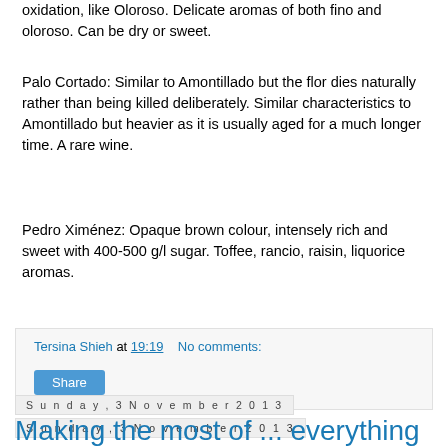oxidation, like Oloroso. Delicate aromas of both fino and oloroso. Can be dry or sweet.
Palo Cortado: Similar to Amontillado but the flor dies naturally rather than being killed deliberately. Similar characteristics to Amontillado but heavier as it is usually aged for a much longer time. A rare wine.
Pedro Ximénez: Opaque brown colour, intensely rich and sweet with 400-500 g/l sugar. Toffee, rancio, raisin, liquorice aromas.
Tersina Shieh at 19:19    No comments:
Share
Sunday, 3 November 2013
Making the most of ... everything
[Figure (photo): Photo showing papers with text 'SOUTH AFRICA' and 'HISTORY' visible, with a partial view of a person]